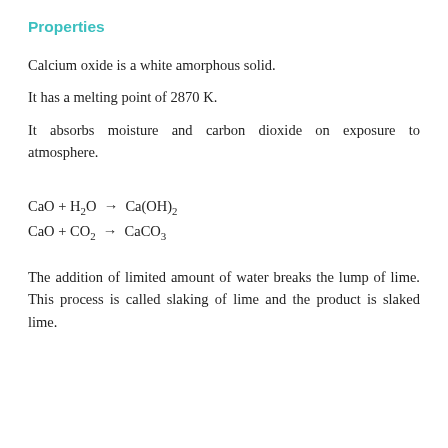Properties
Calcium oxide is a white amorphous solid.
It has a melting point of 2870 K.
It absorbs moisture and carbon dioxide on exposure to atmosphere.
The addition of limited amount of water breaks the lump of lime. This process is called slaking of lime and the product is slaked lime.